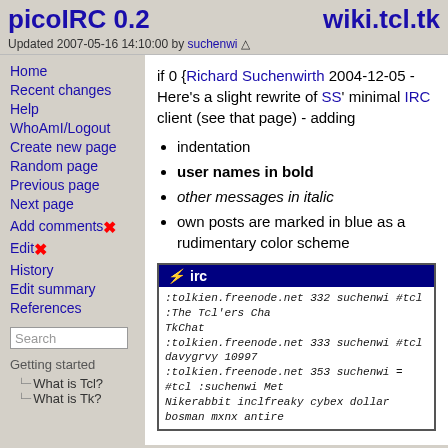picoIRC 0.2 | wiki.tcl.tk
Updated 2007-05-16 14:10:00 by suchenwi
Home
Recent changes
Help
WhoAmI/Logout
Create new page
Random page
Previous page
Next page
Add comments
Edit
History
Edit summary
References
if 0 {Richard Suchenwirth 2004-12-05 - Here's a slight rewrite of SS' minimal IRC client (see that page) - adding
indentation
user names in bold
other messages in italic
own posts are marked in blue as a rudimentary color scheme
[Figure (screenshot): IRC chat window titled 'irc' with dark blue title bar showing IRC log lines from tolkien.freenode.net in monospace italic font]